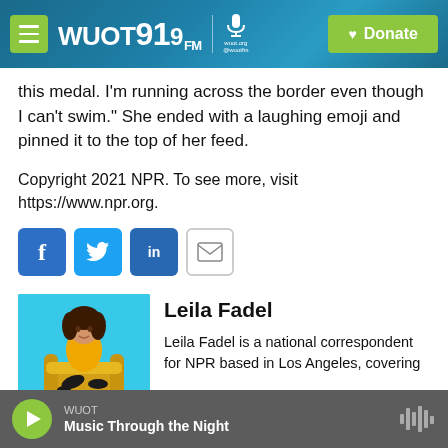WUOT 91.9 FM | Donate
this medal. I'm running across the border even though I can't swim." She ended with a laughing emoji and pinned it to the top of her feed.
Copyright 2021 NPR. To see more, visit https://www.npr.org.
[Figure (infographic): Social share buttons: Facebook (f), Twitter bird, LinkedIn (in), and email envelope icons]
Leila Fadel
[Figure (photo): Photo of Leila Fadel sitting in a yellow chair against a bright blue background, wearing a yellow top]
Leila Fadel is a national correspondent for NPR based in Los Angeles, covering
WUOT — Music Through the Night